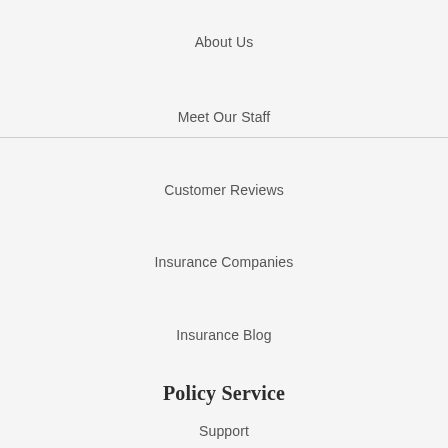About Us
Meet Our Staff
Customer Reviews
Insurance Companies
Insurance Blog
Policy Service
Support